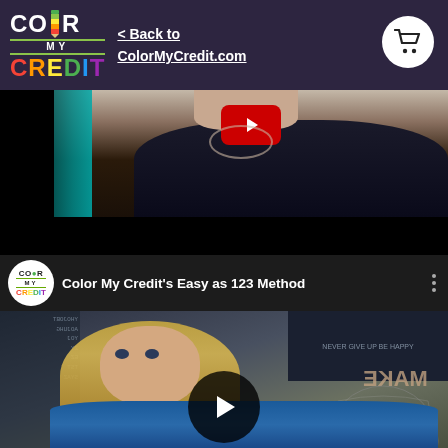< Back to ColorMyCredit.com
[Figure (screenshot): Video thumbnail showing a woman in a dark top with a red play button, partial view]
[Figure (screenshot): YouTube-style video embed titled 'Color My Credit's Easy as 123 Method' with Color My Credit logo, play button, and woman with blonde hair in blue top]